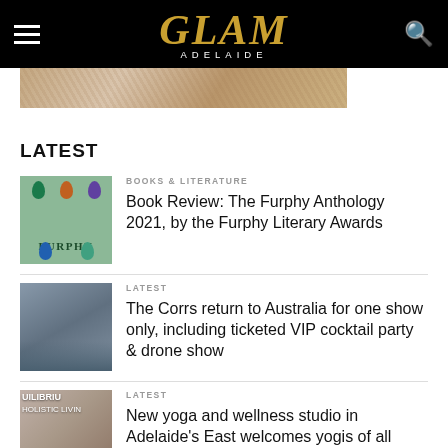GLAM ADELAIDE
[Figure (photo): Close-up photo of a sandy/rocky textured surface in warm pink-brown tones]
LATEST
[Figure (photo): Book cover of The Furphy Anthology 2021 — green background with decorative egg/gem shapes and the word FURPHY]
BOOKS & LITERATURE
Book Review: The Furphy Anthology 2021, by the Furphy Literary Awards
[Figure (photo): Group photo of The Corrs, four siblings seated outdoors]
LATEST
The Corrs return to Australia for one show only, including ticketed VIP cocktail party & drone show
[Figure (photo): Image related to yoga and wellness studio, showing people and text UILIBRIU HOLISTIC LIVIN]
LATEST
New yoga and wellness studio in Adelaide's East welcomes yogis of all